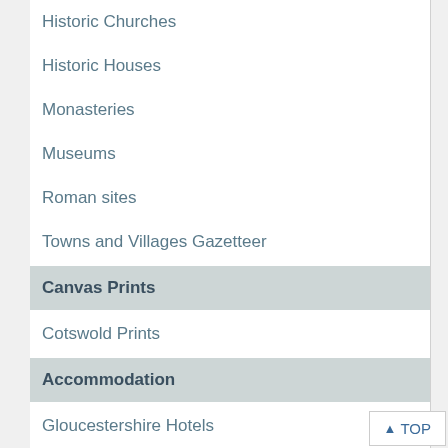Historic Churches
Historic Houses
Monasteries
Museums
Roman sites
Towns and Villages Gazetteer
Canvas Prints
Cotswold Prints
Accommodation
Gloucestershire Hotels
Bed & Breakfast
Self Catering